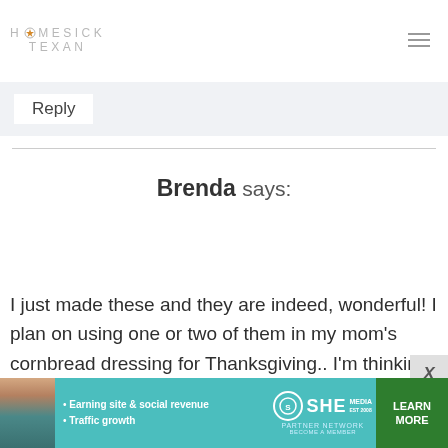HOMESICK TEXAN
Reply
Brenda says:
I just made these and they are indeed, wonderful! I plan on using one or two of them in my mom's cornbread dressing for Thanksgiving.. I'm thinking the apple will give the dressing a little "hmmm" effect. Thanks
[Figure (screenshot): SHE Partner Network advertisement banner with text: Earning site & social revenue, Traffic growth, LEARN MORE]